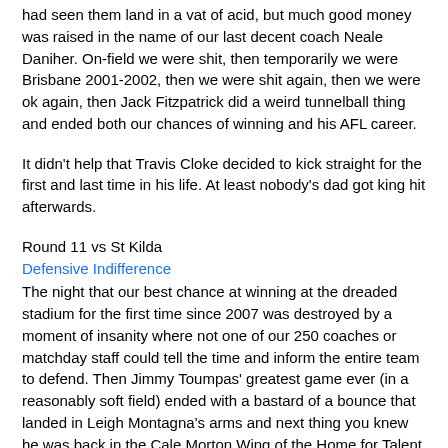had seen them land in a vat of acid, but much good money was raised in the name of our last decent coach Neale Daniher. On-field we were shit, then temporarily we were Brisbane 2001-2002, then we were shit again, then we were ok again, then Jack Fitzpatrick did a weird tunnelball thing and ended both our chances of winning and his AFL career.
It didn't help that Travis Cloke decided to kick straight for the first and last time in his life. At least nobody's dad got king hit afterwards.
Round 11 vs St Kilda
Defensive Indifference
The night that our best chance at winning at the dreaded stadium for the first time since 2007 was destroyed by a moment of insanity where not one of our 250 coaches or matchday staff could tell the time and inform the entire team to defend. Then Jimmy Toumpas' greatest game ever (in a reasonably soft field) ended with a bastard of a bounce that landed in Leigh Montagna's arms and next thing you knew he was back in the Cale Morton Wing of the Home for Talent Players Who Have Been Melbourned.